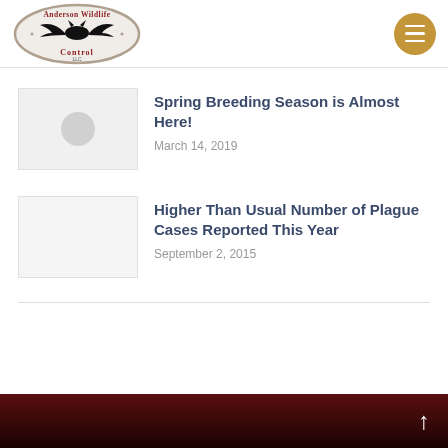Anderson Wildlife Control LLC
[Figure (logo): Anderson Wildlife Control LLC logo with bat illustration in oval shape]
Spring Breeding Season is Almost Here!
March 14, 2019
Higher Than Usual Number of Plague Cases Reported This Year
September 2, 2015
Back to top arrow